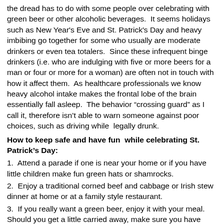the dread has to do with some people over celebrating with green beer or other alcoholic beverages.  It seems holidays such as New Year's Eve and St. Patrick's Day and heavy imbibing go together for some who usually are moderate drinkers or even tea totalers.  Since these infrequent binge drinkers (i.e. who are indulging with five or more beers for a man or four or more for a woman) are often not in touch with how it affect them.  As healthcare professionals we know heavy alcohol intake makes the frontal lobe of the brain essentially fall asleep.  The behavior “crossing guard” as I call it, therefore isn’t able to warn someone against poor choices, such as driving while  legally drunk.
How to keep safe and have fun  while celebrating St. Patrick’s Day:
1.  Attend a parade if one is near your home or if you have little children make fun green hats or shamrocks.
2.  Enjoy a traditional corned beef and cabbage or Irish stew dinner at home or at a family style restaurant.
3.  If you really want a green beer, enjoy it with your meal.  Should you get a little carried away, make sure you have chosen a designated driver before going out who can safely drive you home.
Please have both a happy and healthy holiday!  While one green beer can be just fine, like any other CNS depressant